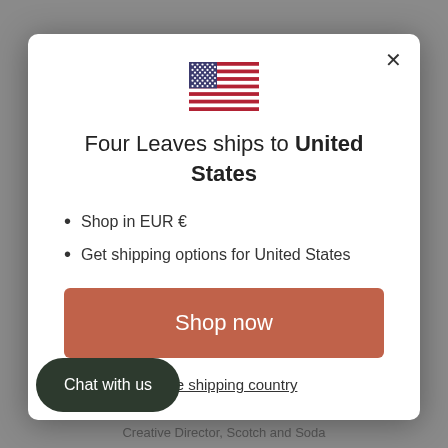[Figure (screenshot): Website modal dialog showing geo-shipping selector. US flag icon at top, title text 'Four Leaves ships to United States', two bullet points about EUR currency and US shipping options, a 'Shop now' button in terracotta color, and a change shipping country link. A 'Chat with us' dark button overlaps the bottom-left. Background shows blurred webpage with UK, Dutch and German flags and text 'Creative Director, Scotch and Soda'.]